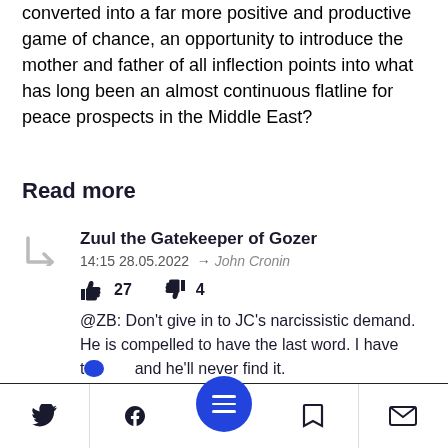converted into a far more positive and productive game of chance, an opportunity to introduce the mother and father of all inflection points into what has long been an almost continuous flatline for peace prospects in the Middle East?
Read more
Zuul the Gatekeeper of Gozer
14:15 28.05.2022 → John Cronin
👍 27 👎 4
@ZB: Don't give in to JC's narcissistic demand. He is compelled to have the last word. I have ti... and he'll never find it.